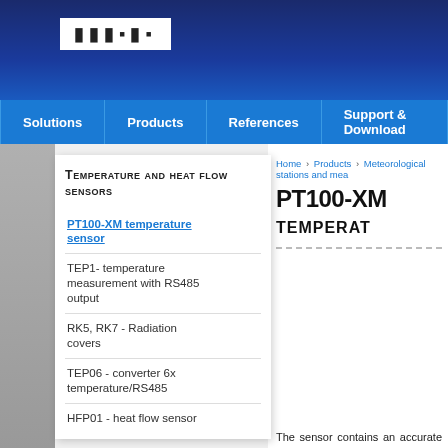FIFDI FD (logo)
Solutions | Products | References | Support & Downloads
Home > Products > Meteorological stations and mea...
PT100-XM TEMPERATURE...
Temperature and heat flow sensors
PT100-XM temperature sensor
TEP1- temperature measurement with RS485 output
RK5, RK7 - Radiation covers
TEP06 - converter 6x temperature/RS485
HFP01 - heat flow sensor
The sensor contains an accurate and s... watertightly housed in a stainless stee... cable of the required length. The cabl...